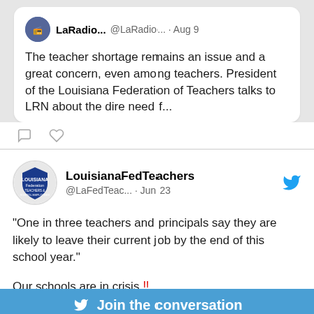[Figure (screenshot): Twitter/X tweet from LaRadio... @LaRadio... Aug 9 about teacher shortage and Louisiana Federation of Teachers]
LaRadio... @LaRadio... · Aug 9
The teacher shortage remains an issue and a great concern, even among teachers. President of the Louisiana Federation of Teachers talks to LRN about the dire need f...
[Figure (screenshot): Twitter/X tweet from LouisianaFedTeachers @LaFedTeac... Jun 23 with quote about one in three teachers and principals leaving, plus hashtags #TeacherBurnout #TeacherShortage]
LouisianaFedTeachers @LaFedTeac... · Jun 23
"One in three teachers and principals say they are likely to leave their current job by the end of this school year."

Our schools are in crisis ‼

#TeacherBurnout #TeacherShortage
Join the conversation